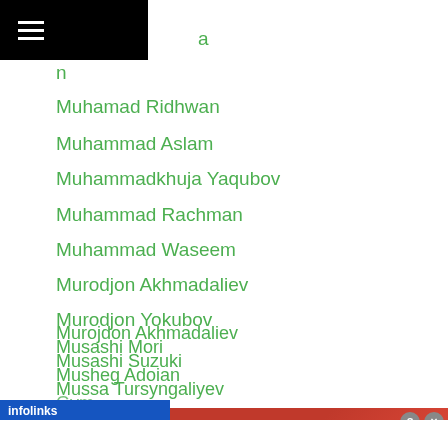☰ [menu icon with partial name]
Muhammad Farmaan (partial, cut off)
Muhamad Ridhwan
Muhammad Aslam
Muhammadkhuja Yaqubov
Muhammad Rachman
Muhammad Waseem
Murodjon Akhmadaliev
Murodjon Yokubov
Murojdon Akhmadaliev
Musashi Mori
Musashi Suzuki
Musheg Adoian
Mussa Tursyngaliyev
...Gym (partially visible)
[Figure (screenshot): infolinks ad banner overlay with BitLife advertisement showing FAIL text, animated emoji characters, fire imagery, and START A NEW LIFE text on dark red background]